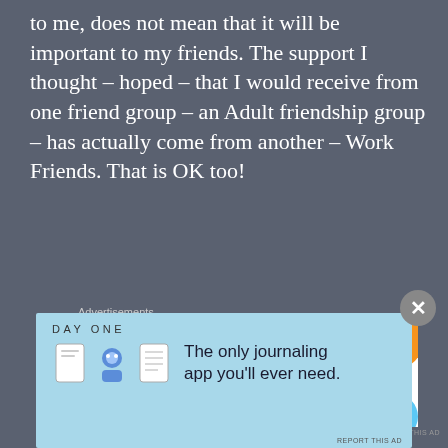to me, does not mean that it will be important to my friends. The support I thought – hoped – that I would receive from one friend group – an Adult friendship group – has actually come from another – Work Friends. That is OK too!
[Figure (advertisement): WooCommerce advertisement banner: purple left panel with WooCommerce logo, white right panel with text 'How to start selling subscriptions online', decorative orange and blue blobs, green arrow shape.]
I've had to not only evaluate my own friendships, but also the type of friend that I am for these posts. Just like with all other things in life there was some good – things I want to keep doing, and some bad
[Figure (advertisement): Day One journaling app advertisement: light blue background with DAY ONE text, three app icons, and text 'The only journaling app you'll ever need.']